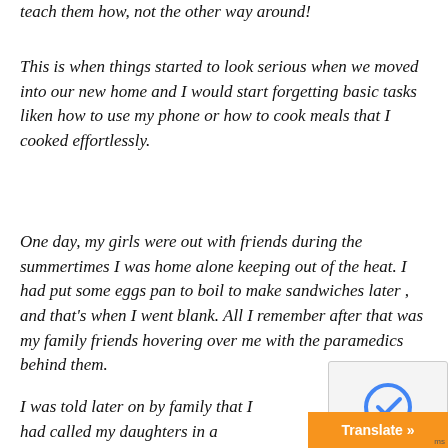teach them how, not the other way around!
This is when things started to look serious when we moved into our new home and I would start forgetting basic tasks liken how to use my phone or how to cook meals that I cooked effortlessly.
One day, my girls were out with friends during the summertimes I was home alone keeping out of the heat. I had put some eggs pan to boil to make sandwiches later , and that's when I went blank. All I remember after that was my family friends hovering over me with the paramedics behind them.
I was told later on by family that I had called my daughters in a panic, unable to speak…